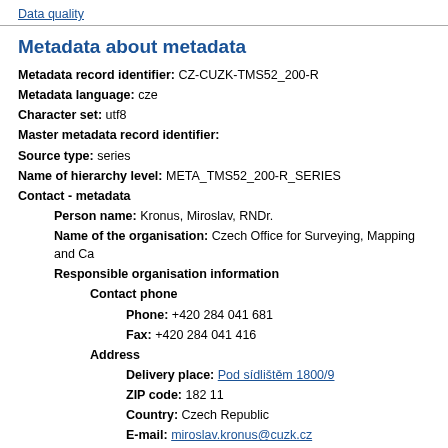Data quality
Metadata about metadata
Metadata record identifier: CZ-CUZK-TMS52_200-R
Metadata language: cze
Character set: utf8
Master metadata record identifier:
Source type: series
Name of hierarchy level: META_TMS52_200-R_SERIES
Contact - metadata
Person name: Kronus, Miroslav, RNDr.
Name of the organisation: Czech Office for Surveying, Mapping and Ca
Responsible organisation information
Contact phone
Phone: +420 284 041 681
Fax: +420 284 041 416
Address
Delivery place: Pod sídlištěm 1800/9
ZIP code: 182 11
Country: Czech Republic
E-mail: miroslav.kronus@cuzk.cz
Online source
Link: https://geoportal.cuzk.cz
Contact hours: Mo-Fr 9:00 AM - 3:00 PM CET